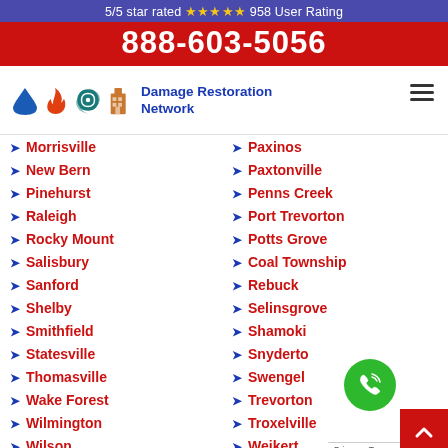5/5 star rated ⭐⭐⭐⭐⭐ 958 User Rating
888-603-5056
[Figure (logo): Damage Restoration Network logo with water drop, fire, storm, and building icons]
Morrisville
Paxinos
New Bern
Paxtonville
Pinehurst
Penns Creek
Raleigh
Port Trevorton
Rocky Mount
Potts Grove
Salisbury
Coal Township
Sanford
Rebuck
Shelby
Selinsgrove
Smithfield
Shamoki
Statesville
Snyderto
Thomasville
Swengel
Wake Forest
Trevorton
Wilmington
Troxelville
Wilson
Weikert